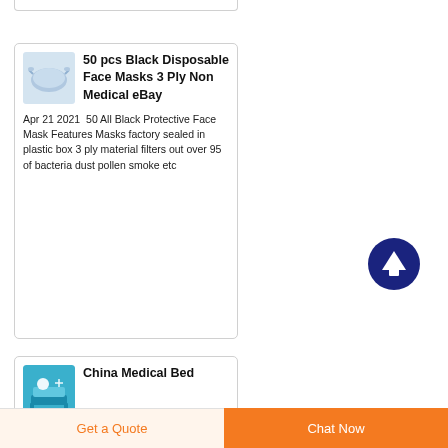[Figure (screenshot): Top partial card border visible at top of page]
50 pcs Black Disposable Face Masks 3 Ply Non Medical eBay
Apr 21 2021  50 All Black Protective Face Mask Features Masks factory sealed in plastic box 3 ply material filters out over 95 of bacteria dust pollen smoke etc
[Figure (screenshot): Scroll-to-top button: dark blue circle with white upward arrow]
China Medical Bed
Get a Quote
Chat Now